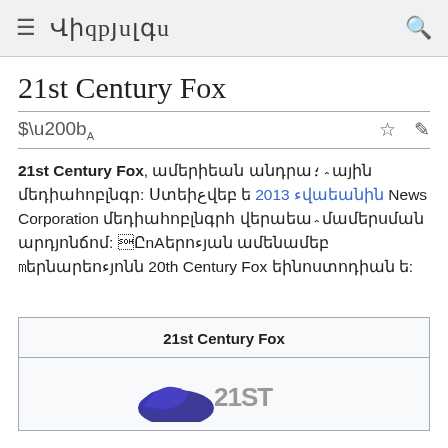≡ Վիքիպեդիա 🔍
21st Century Fox
21st Century Fox, ամերիկյան անդրազգային մեդիահոլդինգ: Ստեղծվել է 2013 թվականին News Corporation մեդիահոլդինգի վերակազմակերպման արդյունքում:Ընկերության ամենամեծ ծեռնարկությունը 20th Century Fox կինոստուդիան է:
| 21st Century Fox |
| --- |
| [logo] |